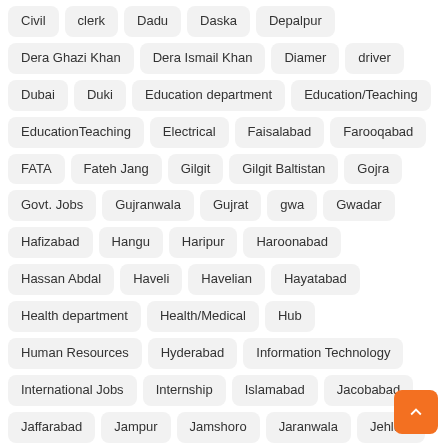Civil
clerk
Dadu
Daska
Depalpur
Dera Ghazi Khan
Dera Ismail Khan
Diamer
driver
Dubai
Duki
Education department
Education/Teaching
EducationTeaching
Electrical
Faisalabad
Farooqabad
FATA
Fateh Jang
Gilgit
Gilgit Baltistan
Gojra
Govt. Jobs
Gujranwala
Gujrat
gwa
Gwadar
Hafizabad
Hangu
Haripur
Haroonabad
Hassan Abdal
Haveli
Havelian
Hayatabad
Health department
Health/Medical
Hub
Human Resources
Hyderabad
Information Technology
International Jobs
Internship
Islamabad
Jacobabad
Jaffarabad
Jampur
Jamshoro
Jaranwala
Jehlum
Jhang
Jhelum
kabul
Kahuta
Kalat
Kamaila
Kamalia